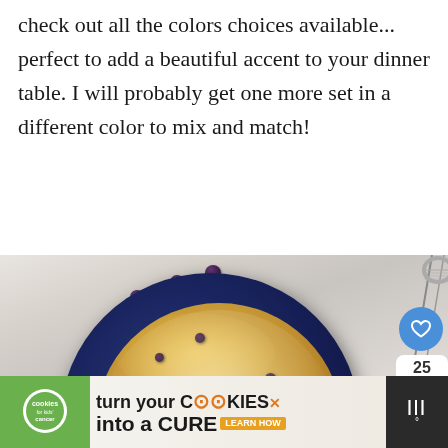check out all the colors choices available... perfect to add a beautiful accent to your dinner table. I will probably get one more set in a different color to mix and match!
[Figure (photo): Overhead photo of a Dutch baby pancake with blueberries in a dark navy blue ceramic plate/skillet, dusted with powdered sugar, on a marble surface with scattered fresh blueberries. UI overlay shows heart/like button (blue circle), share count of 25, share button (blue), and a 'What's Next' panel showing Castagnole with Ricotta thumbnail.]
[Figure (photo): Advertisement banner: Cookies for Kids Cancer - 'turn your COOKIES into a CURE LEARN HOW' with green logo on left and dark TV channel logo on right]